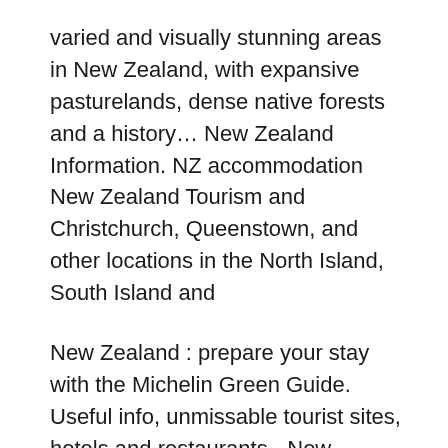varied and visually stunning areas in New Zealand, with expansive pasturelands, dense native forests and a history… New Zealand Information. NZ accommodation New Zealand Tourism and Christchurch, Queenstown, and other locations in the North Island, South Island and
New Zealand : prepare your stay with the Michelin Green Guide. Useful info, unmissable tourist sites, hotels and restaurants - New Zealand On South Island, Lonely Planet's New Zealand's South Island is your passport to the most relevant, up-to-date advice on what to see and skip, and what hidden discoveries await you.